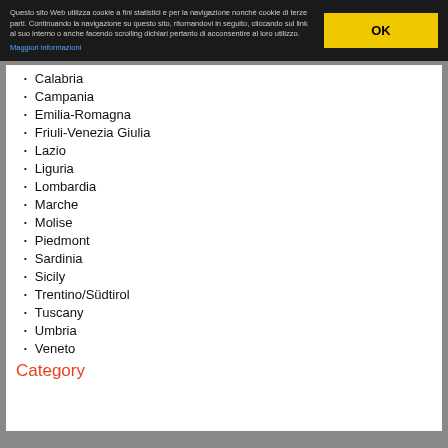Questo sito Web utilizza cookie a fini statistici e per la navigazione nonché cookie di terze parti. Continuando la navigazione su questo sito, ritornandovi in seguito, cliccando sul link al suo interno o anche facendo scrolling dichiari pertanto di acconsentire al loro utilizzo. Maggiori informazioni
Calabria
Campania
Emilia-Romagna
Friuli-Venezia Giulia
Lazio
Liguria
Lombardia
Marche
Molise
Piedmont
Sardinia
Sicily
Trentino/Südtirol
Tuscany
Umbria
Veneto
Category